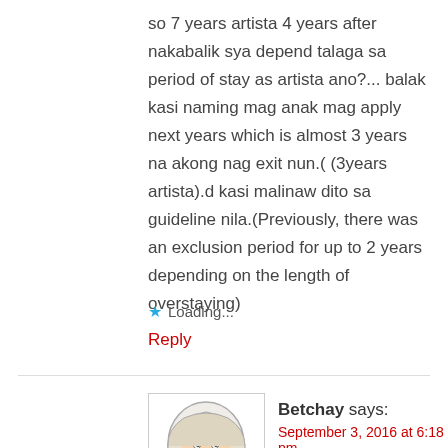so 7 years artista 4 years after nakabalik sya depend talaga sa period of stay as artista ano?... balak kasi naming mag anak mag apply next years which is almost 3 years na akong nag exit nun.( (3years artista).d kasi malinaw dito sa guideline nila.(Previously, there was an exclusion period for up to 2 years depending on the length of overstaying)
★ Loading...
Reply
Betchay says:
September 3, 2016 at 6:18 pm